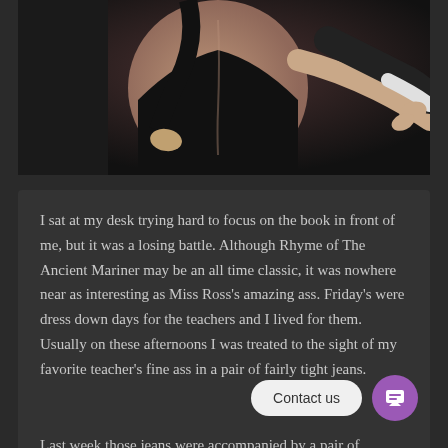[Figure (photo): A couple embracing from behind — a woman in a backless black dress and a man in a dark suit, photographed from behind on a dark background.]
I sat at my desk trying hard to focus on the book in front of me, but it was a losing battle. Although Rhyme of The Ancient Mariner may be an all time classic, it was nowhere near as interesting as Miss Ross's amazing ass. Friday's were dress down days for the teachers and I lived for them. Usually on these afternoons I was treated to the sight of my favorite teacher's fine ass in a pair of fairly tight jeans.
Last week those jeans were accompanied by a pair of